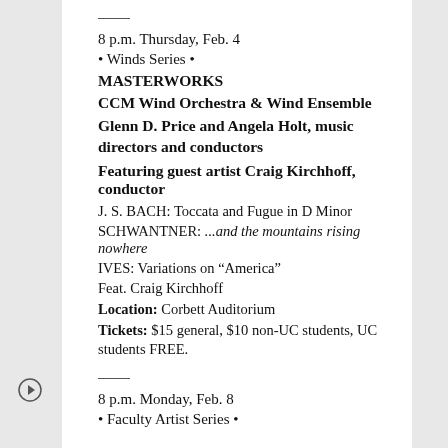8 p.m. Thursday, Feb. 4
• Winds Series •
MASTERWORKS
CCM Wind Orchestra & Wind Ensemble
Glenn D. Price and Angela Holt, music directors and conductors
Featuring guest artist Craig Kirchhoff, conductor
J. S. BACH: Toccata and Fugue in D Minor
SCHWANTNER: ...and the mountains rising nowhere
IVES: Variations on “America”
Feat. Craig Kirchhoff
Location: Corbett Auditorium
Tickets: $15 general, $10 non-UC students, UC students FREE.
8 p.m. Monday, Feb. 8
• Faculty Artist Series •